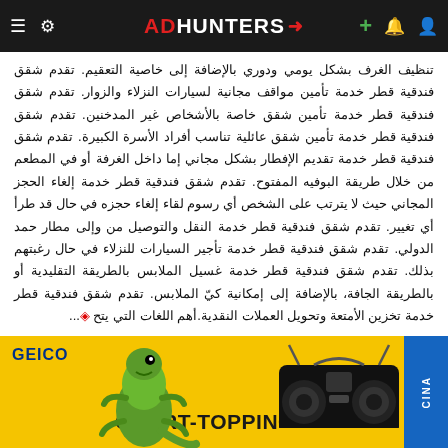ADHUNTERS
تنظيف الغرف بشكل يومي ودوري بالإضافة إلى خاصية التعقيم. تقدم شقق فندقية قطر خدمة تأمين مواقف مجانية لسيارات النزلاء والزوار. تقدم شقق فندقية قطر خدمة تأمين شقق خاصة بالأشخاص غير المدخنين. تقدم شقق فندقية قطر خدمة تأمين شقق عائلية تناسب أفراد الأسرة الكبيرة. تقدم شقق فندقية قطر خدمة تقديم الإفطار بشكل مجاني إما داخل الغرفة أو في المطعم من خلال طريقة البوفيه المفتوح. تقدم شقق فندقية قطر خدمة إلغاء الحجز المجاني حيث لا يترتب على الشخص أي رسوم لقاء إلغاء حجزه في حال قد طرأ أي تغيير. تقدم شقق فندقية قطر خدمة النقل والتوصيل من وإلى مطار حمد الدولي. تقدم شقق فندقية قطر خدمة تأجير السيارات للنزلاء في حال رغبتهم بذلك. تقدم شقق فندقية قطر خدمة غسيل الملابس بالطريقة التقليدية أو بالطريقة الجافة، بالإضافة إلى إمكانية كيّ الملابس. تقدم شقق فندقية قطر خدمة تخزين الأمتعة وتحويل العملات النقدية.أهم اللغات التي يتح...◈
Read more
[Figure (photo): GEICO advertisement banner with green gecko, yellow background, and text 'CHART-TOPPING SAVINGS' with boombox graphic]